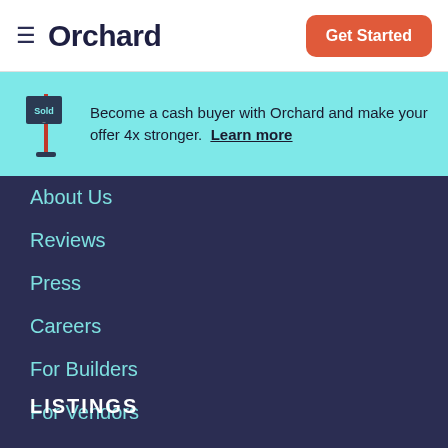Orchard
Become a cash buyer with Orchard and make your offer 4x stronger. Learn more
About Us
Reviews
Press
Careers
For Builders
For Vendors
LISTINGS